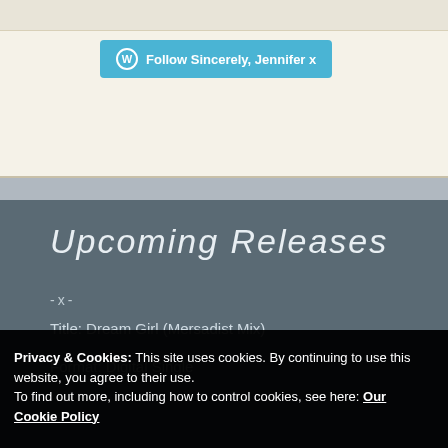[Figure (screenshot): WordPress Follow button widget with blue background reading 'Follow Sincerely, Jennifer x']
Upcoming Releases
-x-
Title: Dream Girl (Mersadist Mix)
Format: Digital Single
Privacy & Cookies: This site uses cookies. By continuing to use this website, you agree to their use.
To find out more, including how to control cookies, see here: Our Cookie Policy
Close and accept